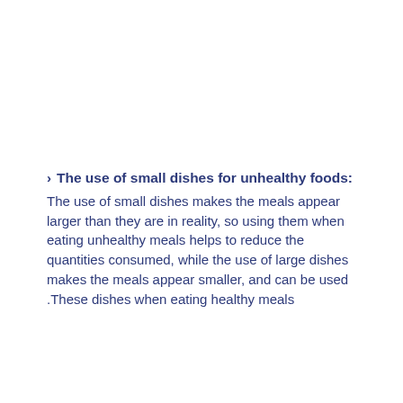The use of small dishes for unhealthy foods: The use of small dishes makes the meals appear larger than they are in reality, so using them when eating unhealthy meals helps to reduce the quantities consumed, while the use of large dishes makes the meals appear smaller, and can be used .These dishes when eating healthy meals